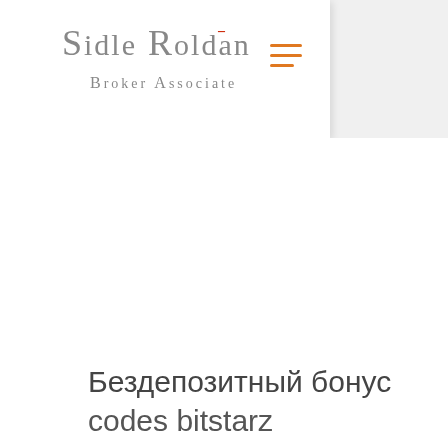[Figure (logo): Sidle Roldan Broker Associate logo with stylized text in gray and a red accent mark]
Бездепозитный бонус codes bitstarz